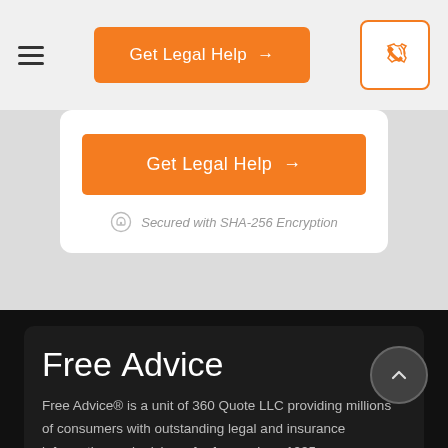Get Legal Help →
Get Legal Help →
Secured with SHA-256 Encryption
Free Advice
Free Advice® is a unit of 360 Quote LLC providing millions of consumers with outstanding legal and insurance information and advice – for free – since 1995.
Company
About Us · Contact Us · Advertiser Disclosure